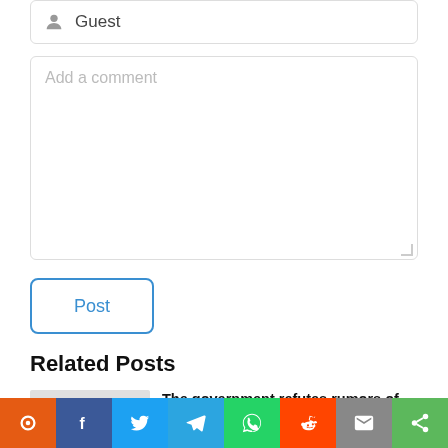Guest
Add a comment
Post
Related Posts
The government refutes rumors of Chinese assets in Swiss Bank, people ridicules ‘a lie has no legs’
Economy | 8 hours ago
[Figure (screenshot): Social share bar with icons for orange bookmark, Facebook, Twitter, Telegram, WhatsApp, Reddit, Email, and Share buttons]